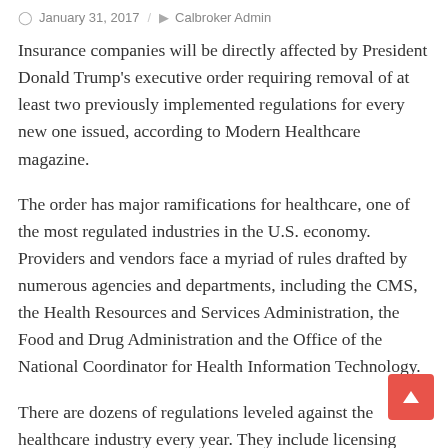January 31, 2017 / Calbroker Admin
Insurance companies will be directly affected by President Donald Trump's executive order requiring removal of at least two previously implemented regulations for every new one issued, according to Modern Healthcare magazine.
The order has major ramifications for healthcare, one of the most regulated industries in the U.S. economy. Providers and vendors face a myriad of rules drafted by numerous agencies and departments, including the CMS, the Health Resources and Services Administration, the Food and Drug Administration and the Office of the National Coordinator for Health Information Technology.
There are dozens of regulations leveled against the healthcare industry every year. They include licensing requirements; quality and safety inspections; and standards to adhere to payment policies. Among the major ones released last year: a rule that mandated the medical loss ratio for managed-care plans; a ban on discrimination at federally funded hospitals, physician